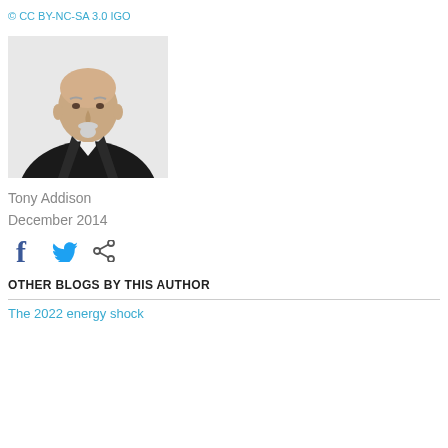© CC BY-NC-SA 3.0 IGO
[Figure (photo): Portrait photo of Tony Addison, a bald older man with a white goatee wearing a dark blazer over a white shirt, against a light grey background]
Tony Addison
December 2014
[Figure (other): Social sharing icons: Facebook (f), Twitter (bird), and share icon]
OTHER BLOGS BY THIS AUTHOR
The 2022 energy shock